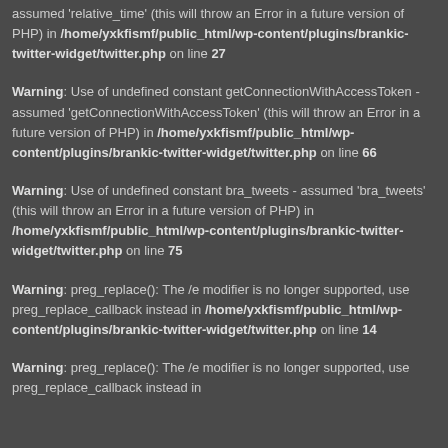assumed 'relative_time' (this will throw an Error in a future version of PHP) in /home/yxkfismf/public_html/wp-content/plugins/brankic-twitter-widget/twitter.php on line 27
Warning: Use of undefined constant getConnectionWithAccessToken - assumed 'getConnectionWithAccessToken' (this will throw an Error in a future version of PHP) in /home/yxkfismf/public_html/wp-content/plugins/brankic-twitter-widget/twitter.php on line 66
Warning: Use of undefined constant bra_tweets - assumed 'bra_tweets' (this will throw an Error in a future version of PHP) in /home/yxkfismf/public_html/wp-content/plugins/brankic-twitter-widget/twitter.php on line 75
Warning: preg_replace(): The /e modifier is no longer supported, use preg_replace_callback instead in /home/yxkfismf/public_html/wp-content/plugins/brankic-twitter-widget/twitter.php on line 14
Warning: preg_replace(): The /e modifier is no longer supported, use preg_replace_callback instead in